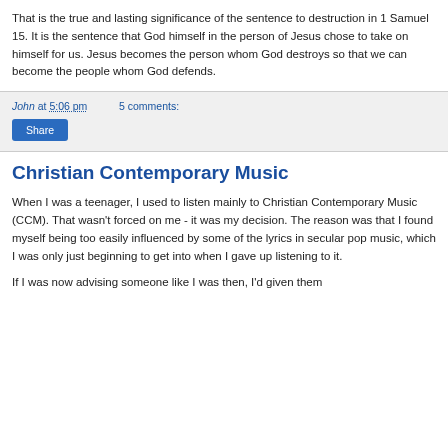That is the true and lasting significance of the sentence to destruction in 1 Samuel 15. It is the sentence that God himself in the person of Jesus chose to take on himself for us. Jesus becomes the person whom God destroys so that we can become the people whom God defends.
John at 5:06 pm    5 comments:
Share
Christian Contemporary Music
When I was a teenager, I used to listen mainly to Christian Contemporary Music (CCM). That wasn't forced on me - it was my decision. The reason was that I found myself being too easily influenced by some of the lyrics in secular pop music, which I was only just beginning to get into when I gave up listening to it.
If I was now advising someone like I was then, I'd given them